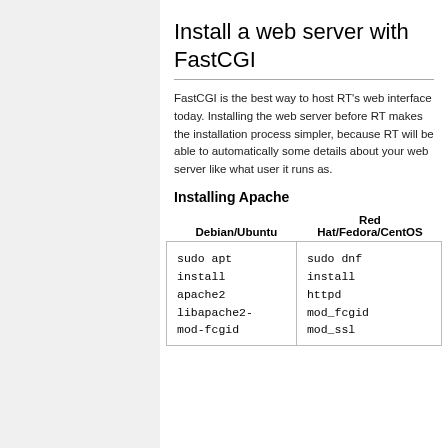Install a web server with FastCGI
FastCGI is the best way to host RT's web interface today. Installing the web server before RT makes the installation process simpler, because RT will be able to automatically some details about your web server like what user it runs as.
Installing Apache
| Debian/Ubuntu | Red Hat/Fedora/CentOS |
| --- | --- |
| sudo apt install apache2 libapache2-mod-fcgid | sudo dnf install httpd mod_fcgid mod_ssl |